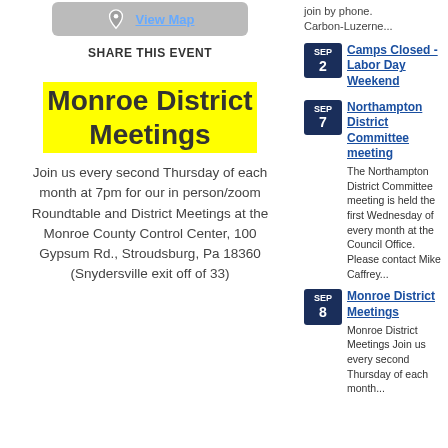[Figure (other): Map button with location pin icon and 'View Map' link on grey background]
SHARE THIS EVENT
Monroe District Meetings
Join us every second Thursday of each month at 7pm for our in person/zoom Roundtable and District Meetings at the Monroe County Control Center, 100 Gypsum Rd., Stroudsburg, Pa 18360 (Snydersville exit off of 33)
join by phone. Carbon-Luzerne...
Camps Closed - Labor Day Weekend
Northampton District Committee meeting
The Northampton District Committee meeting is held the first Wednesday of every month at the Council Office. Please contact Mike Caffrey...
Monroe District Meetings
Monroe District Meetings Join us every second Thursday of each month...